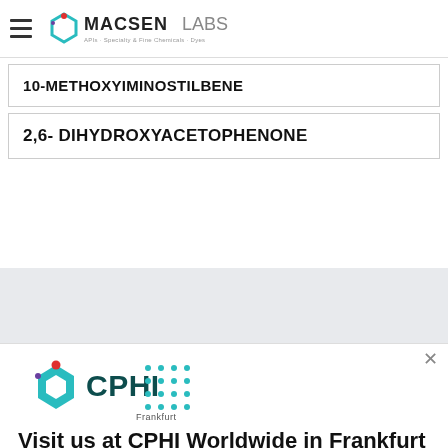MACSEN LABS — APIs, Specialty & Fine Chemicals, Dyes
10-METHOXYIMINOSTILBENE
2,6- DIHYDROXYACETOPHENONE
[Figure (logo): CPHI Frankfurt logo with teal hexagon icon]
Visit us at CPHI Worldwide in Frankfurt
For scheduling a meeting please drop an email on sales@macsenlab.com or you can also share your details here.
SET MY MEETING